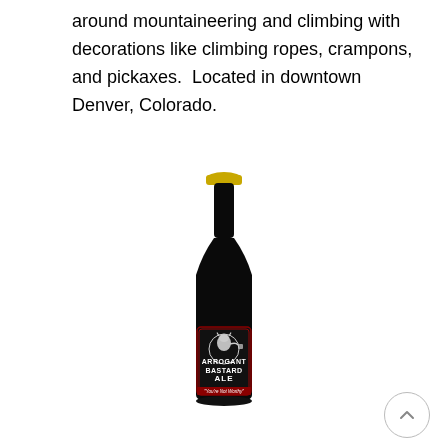around mountaineering and climbing with decorations like climbing ropes, crampons, and pickaxes.  Located in downtown Denver, Colorado.
[Figure (photo): A dark bottle of Arrogant Bastard Ale beer with a gold crown cap. The bottle has a black label featuring a muscular demon-like figure holding a beer mug, with the text 'ARROGANT BASTARD ALE' and the tagline 'You're Not Worthy'.]